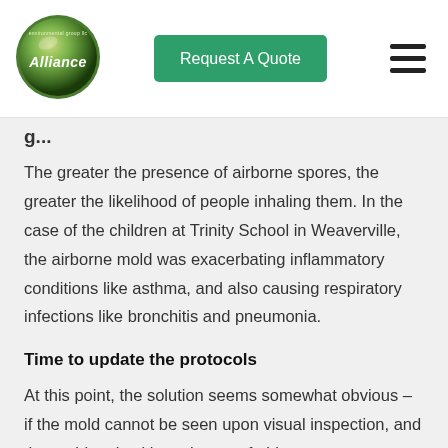Alliance Environmental Group — Request A Quote
The greater the presence of airborne spores, the greater the likelihood of people inhaling them. In the case of the children at Trinity School in Weaverville, the airborne mold was exacerbating inflammatory conditions like asthma, and also causing respiratory infections like bronchitis and pneumonia.
Time to update the protocols
At this point, the solution seems somewhat obvious – if the mold cannot be seen upon visual inspection, and the problem is ultimately one of airborne contamination,